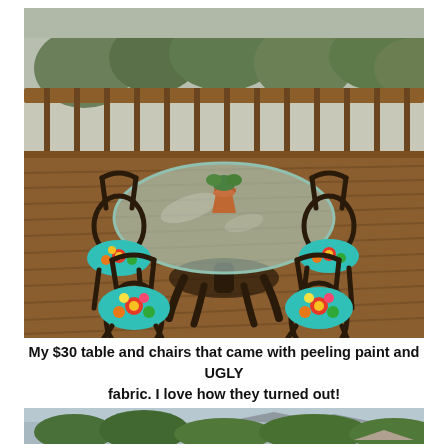[Figure (photo): Outdoor patio dining set on a wood deck. A round glass-top table with dark rattan/bamboo frame, surrounded by four dark chairs with colorful floral patterned seat cushions (teal, orange, yellow flowers). A terracotta pot with a plant sits on the table. Background shows a wooden deck railing and trees/hillside.]
My $30 table and chairs that came with peeling paint and UGLY fabric. I love how they turned out!
[Figure (photo): Partial view of trees and overcast sky, appears to be the same outdoor location, showing greenery and a hazy/overcast sky in the background.]